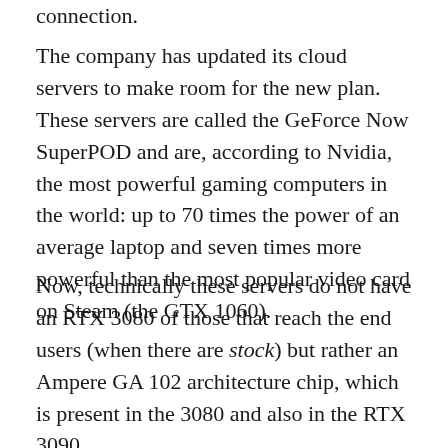connection.
The company has updated its cloud servers to make room for the new plan. These servers are called the GeForce Now SuperPOD and are, according to Nvidia, the most powerful gaming computers in the world: up to 70 times the power of an average laptop and seven times more powerful than the most popular video card on Steam (the GTX 1060).
Now, technically these servers do not have an RTX 3080 of those that reach the end users (when there are stock) but rather an Ampere GA 102 architecture chip, which is present in the 3080 and also in the RTX 3090.